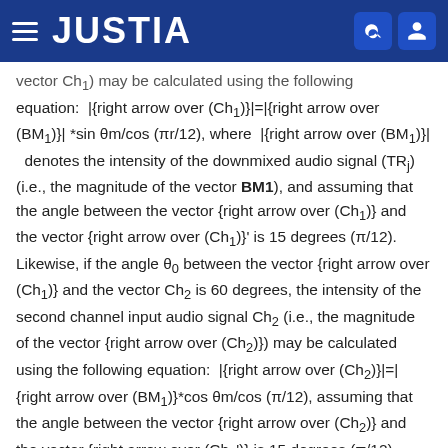JUSTIA
vector Ch1) may be calculated using the following equation: |{right arrow over (Ch1)}|=|{right arrow over (BM1)}|*sin θm/cos (πr/12), where |{right arrow over (BM1)}| denotes the intensity of the downmixed audio signal (TRj) (i.e., the magnitude of the vector BM1), and assuming that the angle between the vector {right arrow over (Ch1)} and the vector {right arrow over (Ch1)}' is 15 degrees (π/12). Likewise, if the angle θ0 between the vector {right arrow over (Ch1)} and the vector Ch2 is 60 degrees, the intensity of the second channel input audio signal Ch2 (i.e., the magnitude of the vector {right arrow over (Ch2)}) may be calculated using the following equation: |{right arrow over (Ch2)}|=|{right arrow over (BM1)}*cos θm/cos (π/12), assuming that the angle between the vector {right arrow over (Ch2)} and the vector {right arrow over (Ch2')} is 15 degrees (π/12).
The remaining...